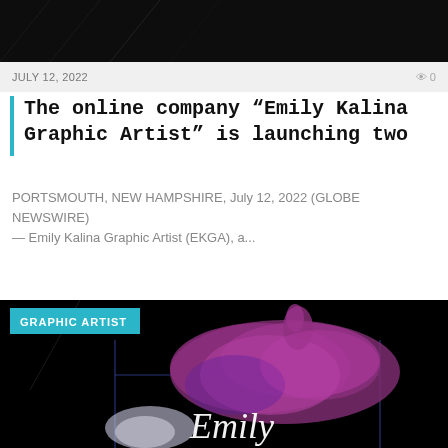[Figure (photo): Dark/black background image at top of page, appears to be a night sky or dark photo]
JULY 12, 2022
0 0
The online company “Emily Kalina Graphic Artist” is launching two
PORTSMOUTH, NEW HAMPSHIRE, July 12, 2022 (GLOBE NEWSWIRE) — Emily Kalina Graphic Artist (EKGA), a...
[Figure (photo): Black background with purple/magenta watercolor ink splash and cursive text 'Emily' in white. Teal badge reading 'GRAPHIC ARTIST' in top left corner. Blue grid lines visible behind the ink splash.]